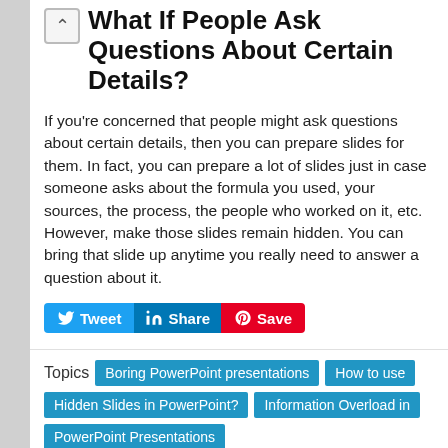What If People Ask Questions About Certain Details?
If you're concerned that people might ask questions about certain details, then you can prepare slides for them. In fact, you can prepare a lot of slides just in case someone asks about the formula you used, your sources, the process, the people who worked on it, etc. However, make those slides remain hidden. You can bring that slide up anytime you really need to answer a question about it.
Tweet Share Save
Topics  Boring PowerPoint presentations  How to use Hidden Slides in PowerPoint?  Information Overload in PowerPoint Presentations  Sharing Details in a PowerPoint Presentation
Category  Presentation Tips